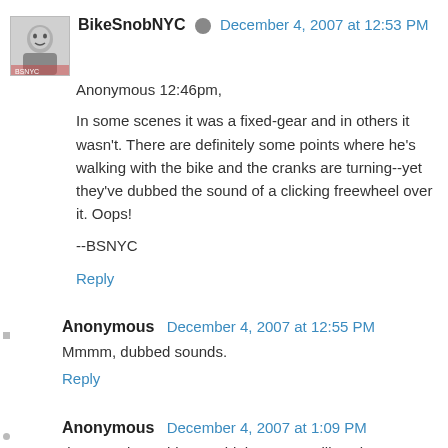[Figure (photo): Avatar image of BikeSnobNYC, a black and white illustrated portrait]
BikeSnobNYC  December 4, 2007 at 12:53 PM
Anonymous 12:46pm,

In some scenes it was a fixed-gear and in others it wasn't. There are definitely some points where he's walking with the bike and the cranks are turning--yet they've dubbed the sound of a clicking freewheel over it. Oops!

--BSNYC
Reply
Anonymous  December 4, 2007 at 12:55 PM
Mmmm, dubbed sounds.
Reply
Anonymous  December 4, 2007 at 1:09 PM
"it's a total zen thing," said the young wiliamsburg resident